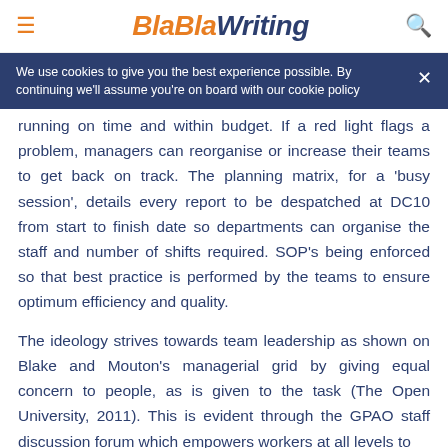BlaBlаWriting
We use cookies to give you the best experience possible. By continuing we'll assume you're on board with our cookie policy
running on time and within budget. If a red light flags a problem, managers can reorganise or increase their teams to get back on track. The planning matrix, for a 'busy session', details every report to be despatched at DC10 from start to finish date so departments can organise the staff and number of shifts required. SOP's being enforced so that best practice is performed by the teams to ensure optimum efficiency and quality.
The ideology strives towards team leadership as shown on Blake and Mouton's managerial grid by giving equal concern to people, as is given to the task (The Open University, 2011). This is evident through the GPAO staff discussion forum which empowers workers at all levels to